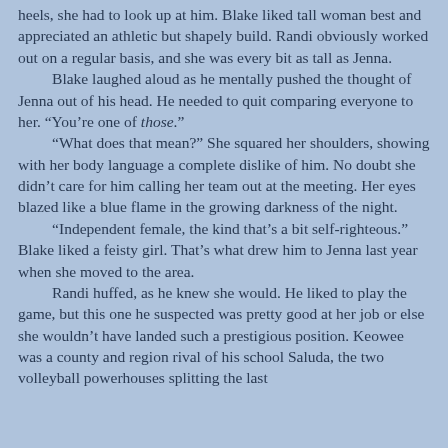heels, she had to look up at him. Blake liked tall woman best and appreciated an athletic but shapely build. Randi obviously worked out on a regular basis, and she was every bit as tall as Jenna.
	Blake laughed aloud as he mentally pushed the thought of Jenna out of his head. He needed to quit comparing everyone to her. “You’re one of those.”
	“What does that mean?” She squared her shoulders, showing with her body language a complete dislike of him. No doubt she didn’t care for him calling her team out at the meeting. Her eyes blazed like a blue flame in the growing darkness of the night.
	“Independent female, the kind that’s a bit self-righteous.” Blake liked a feisty girl. That’s what drew him to Jenna last year when she moved to the area.
	Randi huffed, as he knew she would. He liked to play the game, but this one he suspected was pretty good at her job or else she wouldn’t have landed such a prestigious position. Keowee was a county and region rival of his school Saluda, the two volleyball powerhouses splitting the last